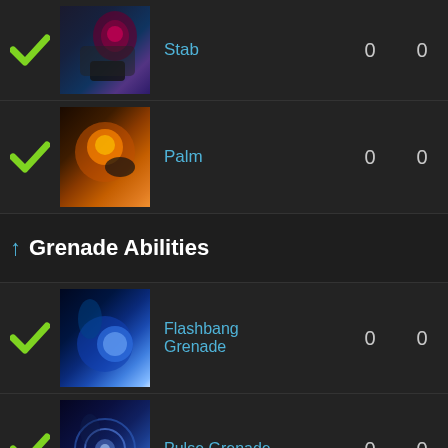Stab  0  0
Palm  0  0
↑ Grenade Abilities
Flashbang Grenade  0  0
Pulse Grenade  0  0
Lightning